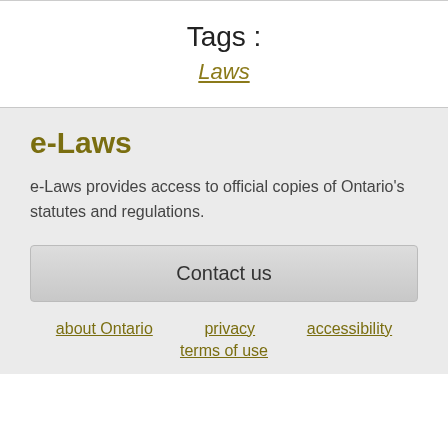Tags :
Laws
e-Laws
e-Laws provides access to official copies of Ontario's statutes and regulations.
Contact us
about Ontario   privacy   accessibility   terms of use